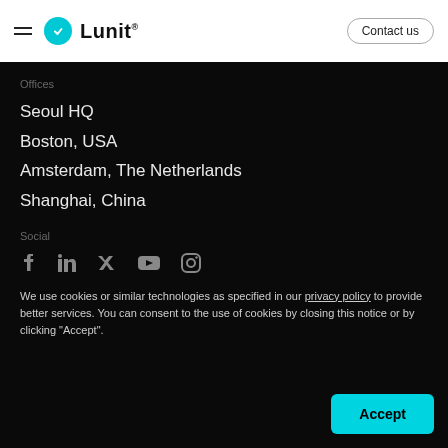Lunit — Contact us
Offices
Seoul HQ
Boston, USA
Amsterdam, The Netherlands
Shanghai, China
Social
[Figure (other): Social media icons: Facebook, LinkedIn, Twitter, YouTube, Instagram]
We use cookies or similar technologies as specified in our privacy policy to provide better services. You can consent to the use of cookies by closing this notice or by clicking "Accept".